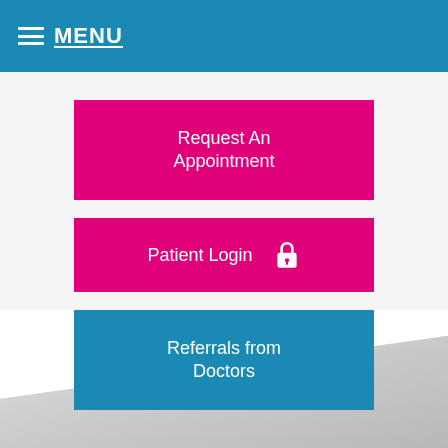MENU
Request An Appointment
Patient Login
Referrals from Doctors